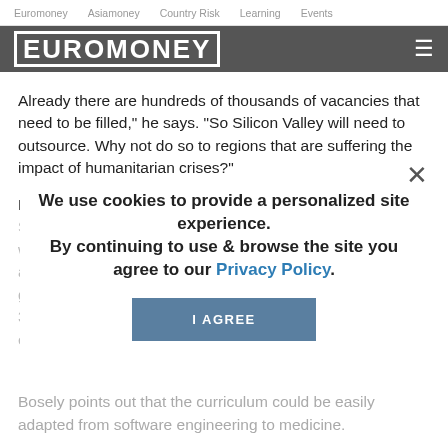Euromoney   Asiamoney   Country Risk   Learning   Events
[Figure (logo): Euromoney logo in white text on dark grey header bar with hamburger menu icon]
Already there are hundreds of thousands of vacancies that need to be filled," he says. "So Silicon Valley will need to outsource. Why not do so to regions that are suffering the impact of humanitarian crises?"
RBK works directly with hiring partners – some 30 in total. Students take two highly intensive courses spanning 19 weeks. From 2,000 applicants with different backgrounds and experiences, about 60 are chosen. Around 40 will graduate and be put forward for job offers. Milan says his 30 have found permanent employment locally. The rest are expected to be in work within months of graduation.
We use cookies to provide a personalized site experience.
By continuing to use & browse the site you agree to our Privacy Policy.
I AGREE
Bosely points out that the curriculum could be easily adapted from software engineering to medicine.